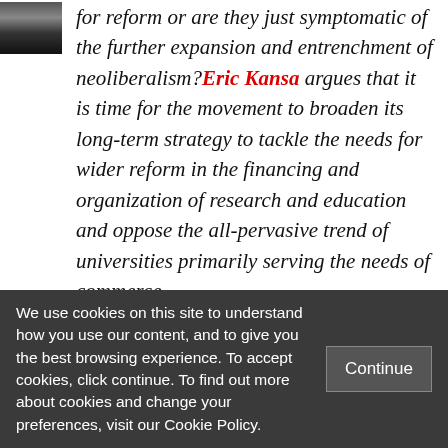[Figure (photo): Small black and white thumbnail photo of a person, partially visible at top left]
for reform or are they just symptomatic of the further expansion and entrenchment of neoliberalism? Eric Kansa argues that it is time for the movement to broaden its long-term strategy to tackle the needs for wider reform in the financing and organization of research and education and oppose the all-pervasive trend of universities primarily serving the needs of commerce.
We use cookies on this site to understand how you use our content, and to give you the best browsing experience. To accept cookies, click continue. To find out more about cookies and change your preferences, visit our Cookie Policy.